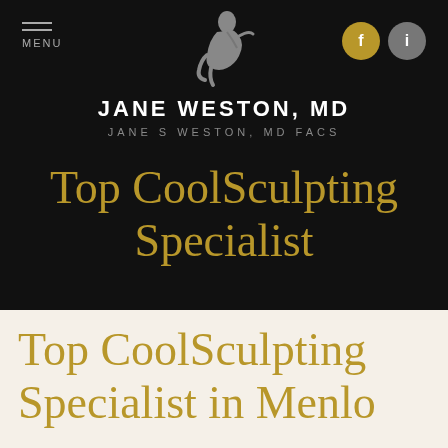MENU
[Figure (logo): Stylized seated figure logo for Jane Weston MD]
JANE WESTON, MD
JANE S WESTON, MD FACS
Top CoolSculpting Specialist
Top CoolSculpting Specialist in Menlo